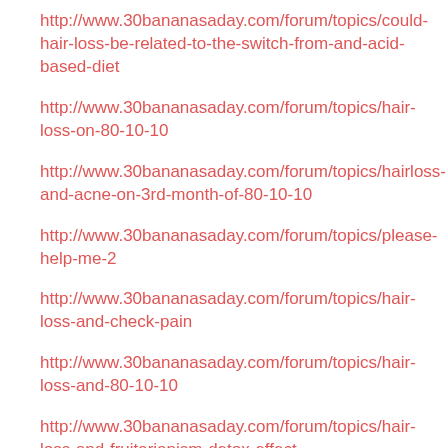http://www.30bananasaday.com/forum/topics/could-hair-loss-be-related-to-the-switch-from-and-acid-based-diet
http://www.30bananasaday.com/forum/topics/hair-loss-on-80-10-10
http://www.30bananasaday.com/forum/topics/hairloss-and-acne-on-3rd-month-of-80-10-10
http://www.30bananasaday.com/forum/topics/please-help-me-2
http://www.30bananasaday.com/forum/topics/hair-loss-and-check-pain
http://www.30bananasaday.com/forum/topics/hair-loss-and-80-10-10
http://www.30bananasaday.com/forum/topics/hair-loss-and-fruitarianism-detox-effect